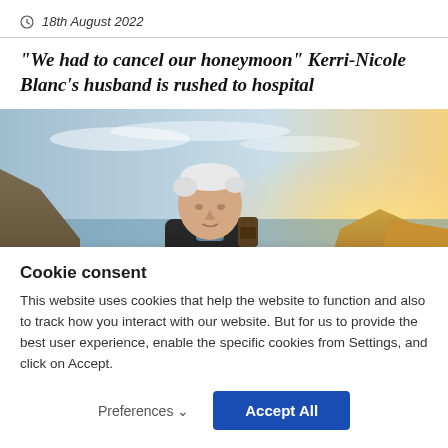18th August 2022
“We had to cancel our honeymoon” Kerri-Nicole Blanc’s husband is rushed to hospital
[Figure (photo): Elderly man with white hair standing outdoors on a cliff or coastal area, wearing a dark jacket, with a bright sunset or sunrise in the background over the sea.]
Cookie consent
This website uses cookies that help the website to function and also to track how you interact with our website. But for us to provide the best user experience, enable the specific cookies from Settings, and click on Accept.
Preferences ⌄
Accept All